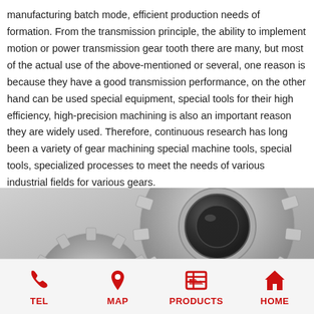manufacturing batch mode, efficient production needs of formation. From the transmission principle, the ability to implement motion or power transmission gear tooth there are many, but most of the actual use of the above-mentioned or several, one reason is because they have a good transmission performance, on the other hand can be used special equipment, special tools for their high efficiency, high-precision machining is also an important reason they are widely used. Therefore, continuous research has long been a variety of gear machining special machine tools, special tools, specialized processes to meet the needs of various industrial fields for various gears.
[Figure (photo): Two interlocking metallic gears (spur gears) photographed in black and white/grayscale, showing gear teeth meshing together with a cylindrical hub visible on the larger gear.]
TEL   MAP   PRODUCTS   HOME